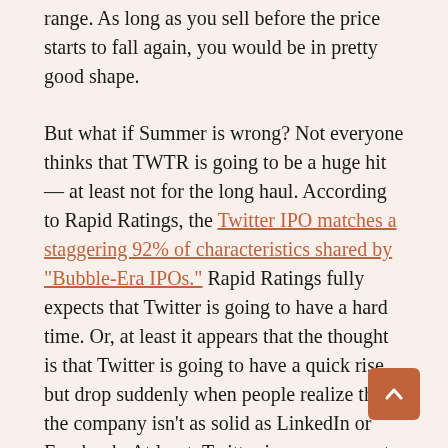range. As long as you sell before the price starts to fall again, you would be in pretty good shape.
But what if Summer is wrong? Not everyone thinks that TWTR is going to be a huge hit — at least not for the long haul. According to Rapid Ratings, the Twitter IPO matches a staggering 92% of characteristics shared by "Bubble-Era IPOs." Rapid Ratings fully expects that Twitter is going to have a hard time. Or, at least it appears that the thought is that Twitter is going to have a quick rise, but drop suddenly when people realize that the company isn't as solid as LinkedIn or Facebook. At least, Twitter is a company at an earlier stage than either of those social media networks when they filed their IPOs and that makes Rapid Ratings a little nervous.
I admit that some of the uncertainty is part of the appeal for me. Am I willing to risk Important Money for the Twitter IPO? Of course not. But I've never really tried this sort of